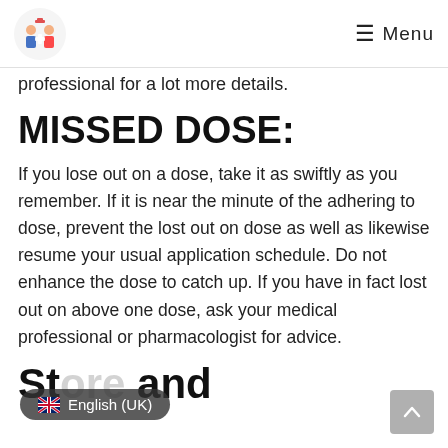Menu
professional for a lot more details.
MISSED DOSE:
If you lose out on a dose, take it as swiftly as you remember. If it is near the minute of the adhering to dose, prevent the lost out on dose as well as likewise resume your usual application schedule. Do not enhance the dose to catch up. If you have in fact lost out on above one dose, ask your medical professional or pharmacologist for advice.
St... and D...